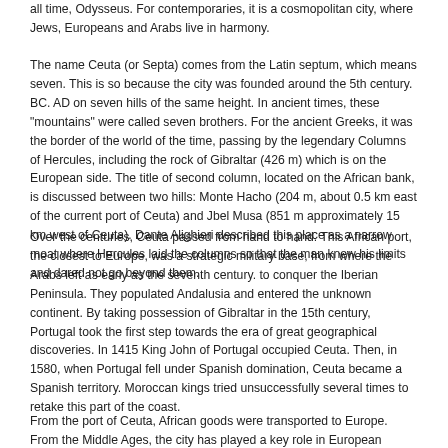all time, Odysseus. For contemporaries, it is a cosmopolitan city, where Jews, Europeans and Arabs live in harmony.
The name Ceuta (or Septa) comes from the Latin septum, which means seven. This is so because the city was founded around the 5th century. BC. AD on seven hills of the same height. In ancient times, these "mountains" were called seven brothers. For the ancient Greeks, it was the border of the world of the time, passing by the legendary Columns of Hercules, including the rock of Gibraltar (426 m) which is on the European side. The title of second column, located on the African bank, is discussed between two hills: Monte Hacho (204 m, about 0.5 km east of the current port of Ceuta) and Jbel Musa (851 m approximately 15 km west of Ceuta). Dante Alighieri described this place as a narrow moat where Hercules laid the columns so that the man knew his limits and dared not go beyond them.
Over the centuries, Ceuta passed from hand to hand. This African port, the closest to Europe, was a strategic military base, from where the Arabs left as early as the seventh century. to conquer the Iberian Peninsula. They populated Andalusia and entered the unknown continent. By taking possession of Gibraltar in the 15th century, Portugal took the first step towards the era of great geographical discoveries. In 1415 King John of Portugal occupied Ceuta. Then, in 1580, when Portugal fell under Spanish domination, Ceuta became a Spanish territory. Moroccan kings tried unsuccessfully several times to retake this part of the coast.
From the port of Ceuta, African goods were transported to Europe. From the Middle Ages, the city has played a key role in European trade...